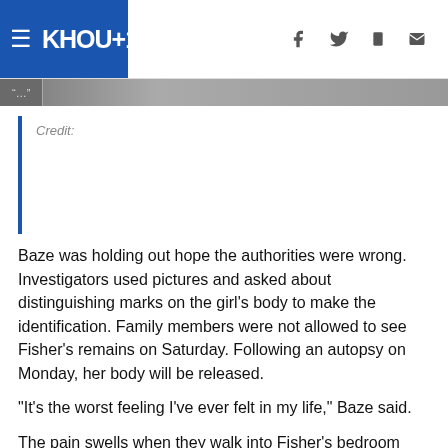KHOU 11
Credit:
Baze was holding out hope the authorities were wrong. Investigators used pictures and asked about distinguishing marks on the girl's body to make the identification. Family members were not allowed to see Fisher's remains on Saturday. Following an autopsy on Monday, her body will be released.
"It's the worst feeling I've ever felt in my life," Baze said.
The pain swells when they walk into Fisher's bedroom where her makeup and clothes are like she left them before going to school on Friday.
Smart, responsible and shy is how they describe the 16-